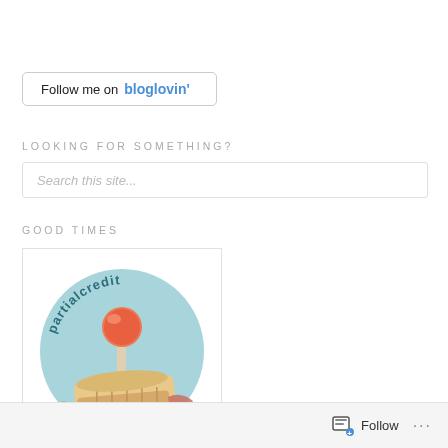[Figure (other): Follow me on bloglovin' button — rounded rectangle bordered button with black text 'Follow me on' and blue bold text 'bloglovin'']
LOOKING FOR SOMETHING?
[Figure (other): Search box input field with placeholder text 'Search this site...']
GOOD TIMES
[Figure (logo): Partial credit podcast logo: light blue circle with joystick illustration and ribbon/banner, text 'partialcredit' arced at top and 'cast' at bottom right]
Follow ...